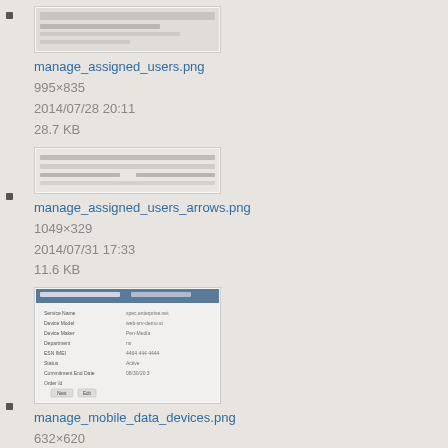[Figure (screenshot): Thumbnail screenshot of manage_assigned_users.png]
manage_assigned_users.png
995×835
2014/07/28 20:11
28.7 KB
[Figure (screenshot): Thumbnail screenshot of manage_assigned_users_arrows.png]
manage_assigned_users_arrows.png
1049×329
2014/07/31 17:33
11.6 KB
[Figure (screenshot): Thumbnail screenshot of manage_mobile_data_devices.png showing a form with fields: Service Name, Device Model, Device Maker, Department, ESN/IMEI, Status, Commitment End Date, Order Id, with Next and Edit buttons]
manage_mobile_data_devices.png
632×620
2013/01/05 01:17
53.8 KB
[Figure (screenshot): Partial thumbnail of another screenshot at bottom of page]